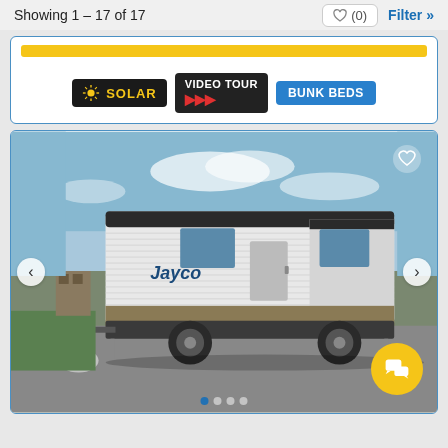Showing 1 – 17 of 17
[Figure (screenshot): Top listing card showing a yellow button bar, and three feature badges: SOLAR (black background, yellow text), VIDEO TOUR (dark background, white text with red arrows), BUNK BEDS (blue background, white text)]
[Figure (photo): Photo of a Jayco travel trailer RV parked outdoors on a paved lot with blue sky background. Navigation arrows on left and right, heart icon top right, dot pagination indicators at bottom center, and yellow chat FAB button bottom right.]